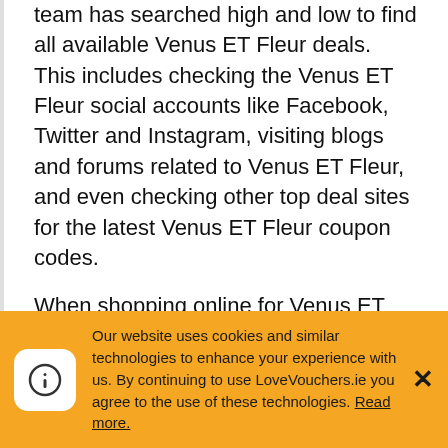team has searched high and low to find all available Venus ET Fleur deals. This includes checking the Venus ET Fleur social accounts like Facebook, Twitter and Instagram, visiting blogs and forums related to Venus ET Fleur, and even checking other top deal sites for the latest Venus ET Fleur coupon codes.
When shopping online for Venus ET Fleur, it is a good idea to always visit us here at LoveVouchers.ie before you finish your order. The LoveVouchers.ie team save our visitors thousands of euros every month, many of which never knew Venus ET Fleur discount codes were available until visiting our site. Now that you know how easy it is to save at
Our website uses cookies and similar technologies to enhance your experience with us. By continuing to use LoveVouchers.ie you agree to the use of these technologies. Read more.